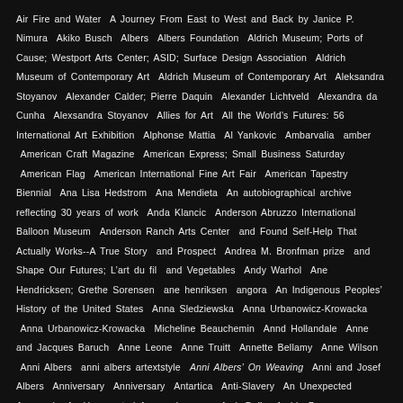Air Fire and Water  A Journey From East to West and Back by Janice P. Nimura  Akiko Busch  Albers  Albers Foundation  Aldrich Museum; Ports of Cause; Westport Arts Center; ASID; Surface Design Association  Aldrich Museum of Contemporary Art  Aldrich Museum of Contemporary Art  Aleksandra Stoyanov  Alexander Calder; Pierre Daquin  Alexander Lichtveld  Alexandra da Cunha  Alexsandra Stoyanov  Allies for Art  All the World’s Futures: 56 International Art Exhibition  Alphonse Mattia  Al Yankovic  Ambarvalia  amber  American Craft Magazine  American Express; Small Business Saturday  American Flag  American International Fine Art Fair  American Tapestry Biennial  Ana Lisa Hedstrom  Ana Mendieta  An autobiographical archive reflecting 30 years of work  Anda Klancic  Anderson Abruzzo International Balloon Museum  Anderson Ranch Arts Center  and Found Self-Help That Actually Works--A True Story  and Prospect  Andrea M. Bronfman prize  and Shape Our Futures; L’art du fil  and Vegetables  Andy Warhol  Ane Hendricksen; Grethe Sorensen  ane henriksen  angora  An Indigenous Peoples’ History of the United States  Anna Sledziewska  Anna Urbanowicz-Krowacka  Anna Urbanowicz-Krowacka  Micheline Beauchemin  Annd Hollandale  Anne and Jacques Baruch  Anne Leone  Anne Truitt  Annette Bellamy  Anne Wilson  Anni Albers  anni albers artextstyle  Anni Albers’ On Weaving  Anni and Josef Albers  Anniversary  Anniversary  Antartica  Anti-Slavery  An Unexpected Approach  An Unexpected Approach  apps  Arch Daily  Archie Brennan  Architect  Architectural Textiles  Architectural weaving  Architecture  Architecture  Are WE the Enemy? Fire Tree Thread initiative  Art  Art...